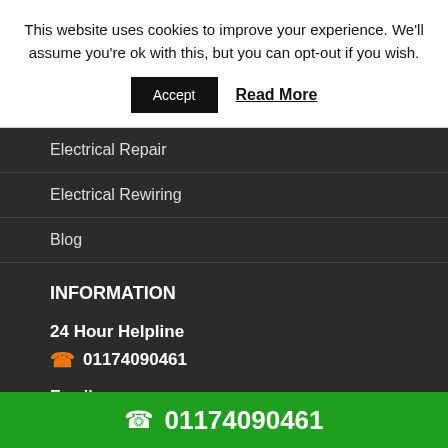This website uses cookies to improve your experience. We'll assume you're ok with this, but you can opt-out if you wish.
Accept   Read More
Electrical Repair
Electrical Rewiring
Blog
INFORMATION
24 Hour Helpline
01174090461
Email
01174090461